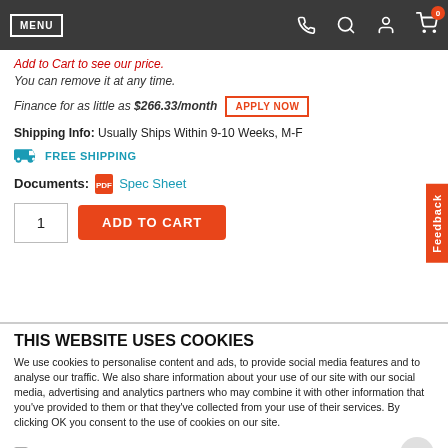MENU (navigation bar with phone, search, user, cart icons)
Add to Cart to see our price.
You can remove it at any time.
Finance for as little as $266.33/month  APPLY NOW
Shipping Info: Usually Ships Within 9-10 Weeks, M-F
FREE SHIPPING
Documents: Spec Sheet
1  ADD TO CART
THIS WEBSITE USES COOKIES
We use cookies to personalise content and ads, to provide social media features and to analyse our traffic. We also share information about your use of our site with our social media, advertising and analytics partners who may combine it with other information that you've provided to them or that they've collected from your use of their services. By clicking OK you consent to the use of cookies on our site.
Do Not Sell My Personal Information
OK  Show details